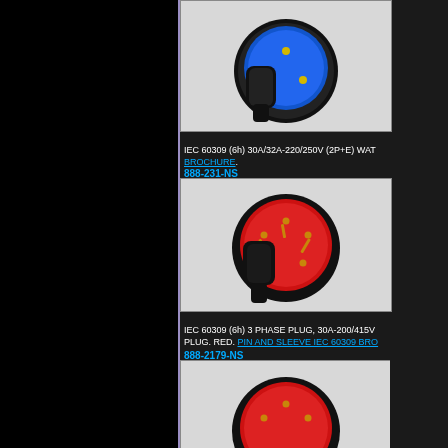[Figure (photo): Blue IEC 60309 2P+E watertight plug with black body, viewed from front angle]
IEC 60309 (6h) 30A/32A-220/250V (2P+E) WATERTIGHT PLUG. BROCHURE.
888-231-NS
[Figure (photo): Red IEC 60309 3-phase plug with black body, 5 pins, viewed from front angle]
IEC 60309 (6h) 3 PHASE PLUG, 30A-200/415V PLUG. RED. PIN AND SLEEVE IEC 60309 BROCHURE.
888-2179-NS
[Figure (photo): Red IEC 60309 3-phase plug with black body, partially visible at bottom of page]